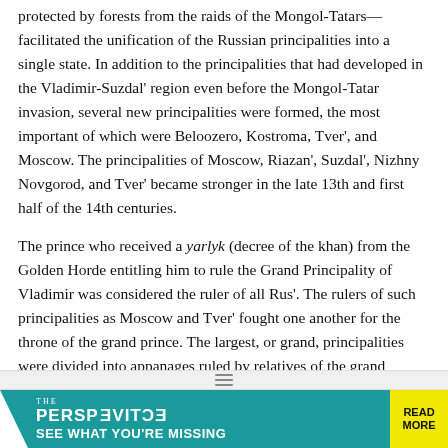protected by forests from the raids of the Mongol-Tatars—facilitated the unification of the Russian principalities into a single state. In addition to the principalities that had developed in the Vladimir-Suzdal' region even before the Mongol-Tatar invasion, several new principalities were formed, the most important of which were Beloozero, Kostroma, Tver', and Moscow. The principalities of Moscow, Riazan', Suzdal', Nizhny Novgorod, and Tver' became stronger in the late 13th and first half of the 14th centuries.
The prince who received a yarlyk (decree of the khan) from the Golden Horde entitling him to rule the Grand Principality of Vladimir was considered the ruler of all Rus'. The rulers of such principalities as Moscow and Tver' fought one another for the throne of the grand prince. The largest, or grand, principalities were divided into appanages ruled by relatives of the grand prince, who were aided by a council of boyars, the Boyar Duma. In addition, boyars headed various branches of the prince's administration. The areas of a principality that were not under the jurisdiction of the prince's court were governed by namestniki (vicegerents) and volosteli, who were in charge of the districts known as volosti. Under the kormlenie system, the namestniki and volosteli were empowered to collect various revenues for their upkeep.
[Figure (infographic): Advertisement banner for 'The Perspective' publication with teal background, reversed logo text, tagline 'SEE WHAT YOU'RE MISSING' and yellow 'READ MORE' button]